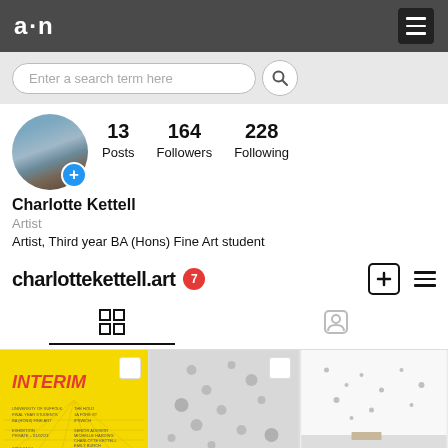a·n
Enter a search term here
[Figure (photo): Profile avatar showing a beach/coastal scene with circular crop and blue plus button]
13 Posts  164 Followers  228 Following
Charlotte Kettell
Artist
Artist, Third year BA (Hons) Fine Art student
charlottekettell.art  7
[Figure (screenshot): Instagram profile grid view with three thumbnail images: yellow INTERIM poster, dots on grey background, white gallery wall]
INTERIM exhibition poster in yellow, artwork dots photo, gallery installation photo